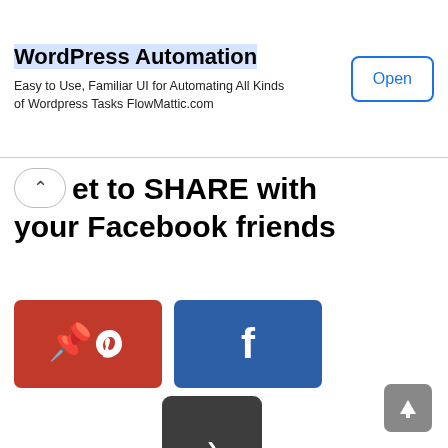[Figure (screenshot): Advertisement banner for WordPress Automation by FlowMattic.com with an Open button]
et to SHARE with your Facebook friends
[Figure (infographic): Social share buttons: Pinterest (red), Facebook (blue), and a dark More arrow button, followed by Taboola Feed branding]